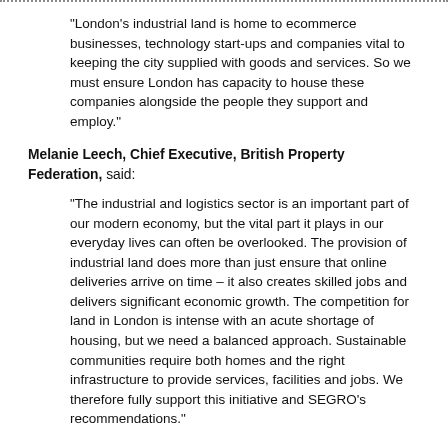“London’s industrial land is home to ecommerce businesses, technology start-ups and companies vital to keeping the city supplied with goods and services. So we must ensure London has capacity to house these companies alongside the people they support and employ.”
Melanie Leech, Chief Executive, British Property Federation, said:
“The industrial and logistics sector is an important part of our modern economy, but the vital part it plays in our everyday lives can often be overlooked. The provision of industrial land does more than just ensure that online deliveries arrive on time – it also creates skilled jobs and delivers significant economic growth. The competition for land in London is intense with an acute shortage of housing, but we need a balanced approach. Sustainable communities require both homes and the right infrastructure to provide services, facilities and jobs. We therefore fully support this initiative and SEGRO’s recommendations.”